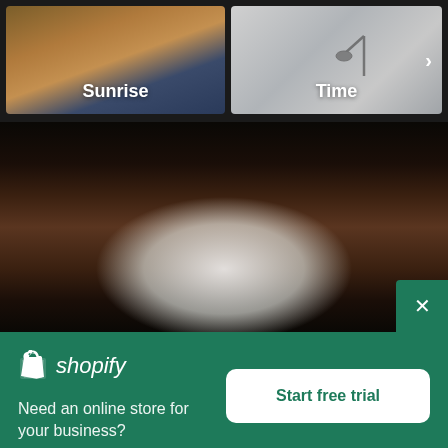[Figure (screenshot): Two thumbnail images side by side: left is 'Sunrise' (sky with clouds), right is 'Time' (desk lamp on gray background) with a right arrow]
[Figure (photo): Large blurred photo of white flowers against a dark brown wooden background]
[Figure (screenshot): Shopify advertisement banner in teal/green color with Shopify logo, tagline 'Need an online store for your business?' and a 'Start free trial' button]